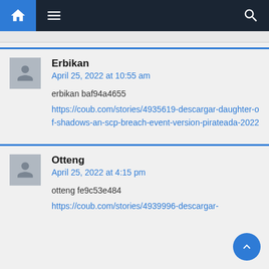Navigation bar with home, menu, and search icons
Erbikan
April 25, 2022 at 10:55 am
erbikan baf94a4655
https://coub.com/stories/4935619-descargar-daughter-of-shadows-an-scp-breach-event-version-pirateada-2022
Otteng
April 25, 2022 at 4:15 pm
otteng fe9c53e484
https://coub.com/stories/4939996-descargar-